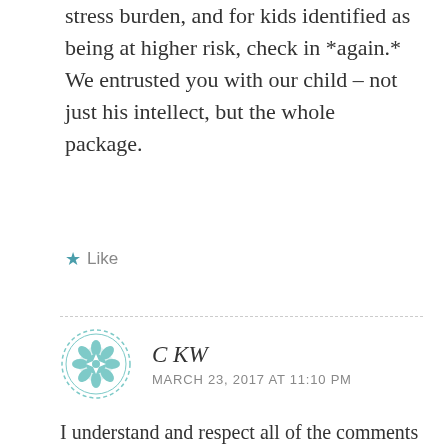stress burden, and for kids identified as being at higher risk, check in *again.* We entrusted you with our child – not just his intellect, but the whole package.
★ Like
C KW
MARCH 23, 2017 AT 11:10 PM
I understand and respect all of the comments that followed mine. But I really do think that it is not the job of "the school" to do all of these things. Professors are not counsellors. Sure, perhaps you could train them in a variety of